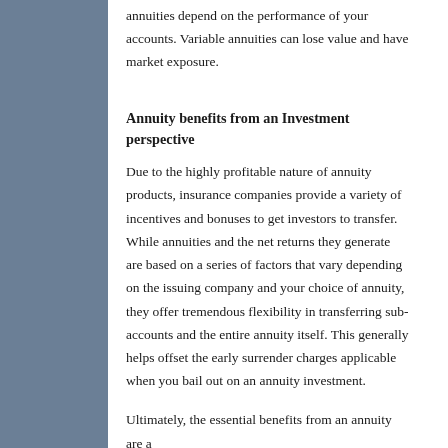annuities depend on the performance of your accounts. Variable annuities can lose value and have market exposure.
Annuity benefits from an Investment perspective
Due to the highly profitable nature of annuity products, insurance companies provide a variety of incentives and bonuses to get investors to transfer. While annuities and the net returns they generate are based on a series of factors that vary depending on the issuing company and your choice of annuity, they offer tremendous flexibility in transferring sub-accounts and the entire annuity itself. This generally helps offset the early surrender charges applicable when you bail out on an annuity investment.
Ultimately, the essential benefits from an annuity are a